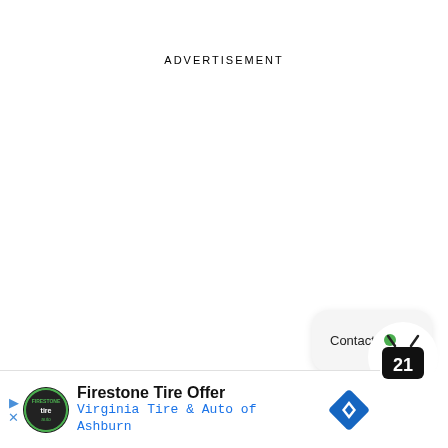ADVERTISEMENT
[Figure (illustration): Contact Us button widget — rounded rectangle with light gray background and shadow, containing text 'Contact Us']
[Figure (logo): Channel 21 TV app icon — black rounded square with white number 21, green notification dot, antenna on top]
[Figure (illustration): Firestone Tire Offer ad banner with Virginia Tire & Auto of Ashburn logo, navigation icon, play/close controls]